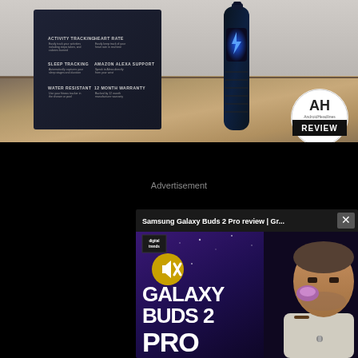[Figure (photo): Product photo of a fitness tracker/smartband with its packaging box on a wooden surface. The box shows features: Activity Tracking, Heart Rate, Sleep Tracking, Amazon Alexa Support, Water Resistant, 12 Month Warranty. An AH AndroidHeadlines REVIEW badge is visible in the bottom right.]
Advertisement
[Figure (screenshot): A floating video ad player showing 'Samsung Galaxy Buds 2 Pro review | Gr...' with a close (X) button. The video thumbnail shows the Digital Trends logo, a muted speaker icon button, large text reading 'GALAXY BUDS 2 PRO', and a man holding a purple earbud case against a dark starry background.]